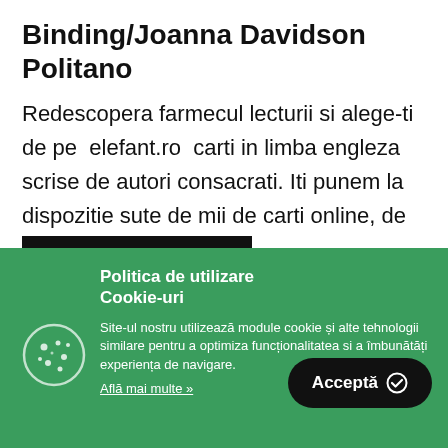Binding/Joanna Davidson Politano
Redescopera farmecul lecturii si alege-ti de pe elefant.ro carti in limba engleza scrise de autori consacrati. Iti punem la dispozitie sute de mii de carti online, de dragoste si beletristica,…
Politica de utilizare Cookie-uri
Site-ul nostru utilizează module cookie și alte tehnologii similare pentru a optimiza funcționalitatea si a îmbunătăți experiența de navigare.
Află mai multe »